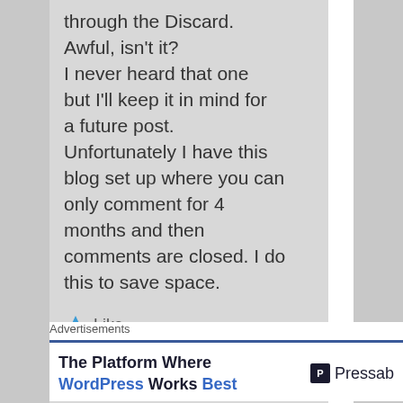through the Discard. Awful, isn't it? I never heard that one but I'll keep it in mind for a future post. Unfortunately I have this blog set up where you can only comment for 4 months and then comments are closed. I do this to save space.
Like
Reply ↓
Advertisements
The Platform Where WordPress Works Best Pressable